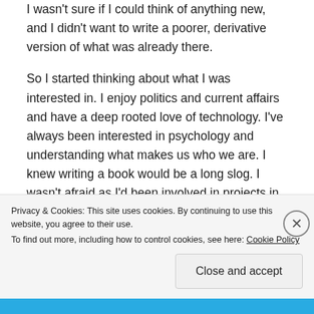I wasn't sure if I could think of anything new, and I didn't want to write a poorer, derivative version of what was already there.
So I started thinking about what I was interested in. I enjoy politics and current affairs and have a deep rooted love of technology. I've always been interested in psychology and understanding what makes us who we are. I knew writing a book would be a long slog. I wasn't afraid as I'd been involved in projects in the past that were delivered over years rather than months, but I also knew I needed to have something more to what I'd written than just the story itself. The best way of
Privacy & Cookies: This site uses cookies. By continuing to use this website, you agree to their use.
To find out more, including how to control cookies, see here: Cookie Policy